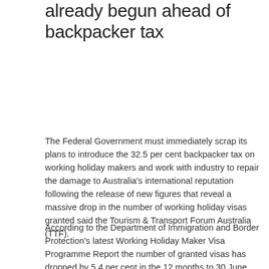Working Holiday Maker decline has already begun ahead of backpacker tax
The Federal Government must immediately scrap its plans to introduce the 32.5 per cent backpacker tax on working holiday makers and work with industry to repair the damage to Australia's international reputation following the release of new figures that reveal a massive drop in the number of working holiday visas granted said the Tourism & Transport Forum Australia (TTF).
According to the Department of Immigration and Border Protection's latest Working Holiday Maker Visa Programme Report the number of granted visas has dropped by 5.4 per cent in the 12 months to 30 June 2016. That is 12,229 less visas granted to working holiday makers over the period.
Since 2012-13 the number of working holiday makers has dropped 17 per cent from 258,248 to 214, 583 in 2015-16 – a loss of 43, 665 working holiday makers as the cost of visas has been hiked